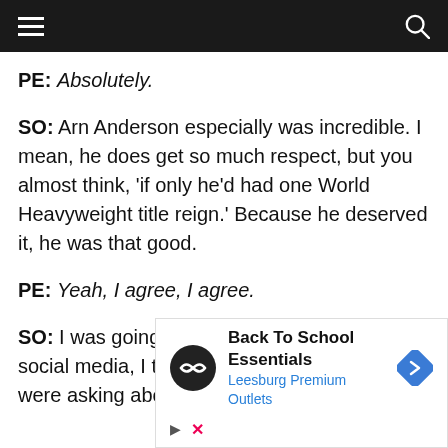Navigation bar with hamburger menu and search icon
PE: Absolutely.
SO: Arn Anderson especially was incredible. I mean, he does get so much respect, but you almost think, ‘if only he’d had one World Heavyweight title reign.’ Because he deserved it, he was that good.
PE: Yeah, I agree, I agree.
SO: I was going to ask you, I saw you on social media, I think it was Fite TV, and they were asking about what
[Figure (screenshot): Advertisement overlay for Back To School Essentials at Leesburg Premium Outlets with logo icon and navigation arrow]